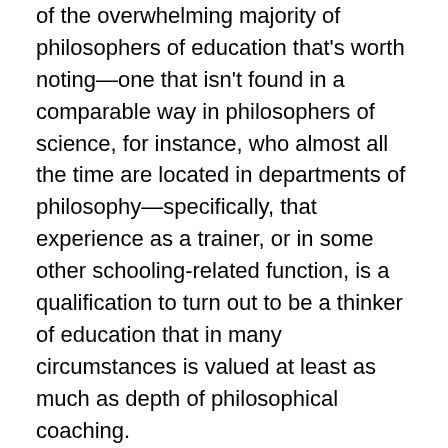of the overwhelming majority of philosophers of education that's worth noting—one that isn't found in a comparable way in philosophers of science, for instance, who almost all the time are located in departments of philosophy—specifically, that experience as a trainer, or in some other schooling-related function, is a qualification to turn out to be a thinker of education that in many circumstances is valued at least as much as depth of philosophical coaching.
[Figure (illustration): Broken image placeholder icon followed by the text 'philosophy of education']
Aristotle considered human nature, behavior and reason to be equally essential forces to be cultivated in schooling. Traditionally, philosophies of training have often taken the first form, but underneath the affect of analytical philosophy, they have generally taken the second.